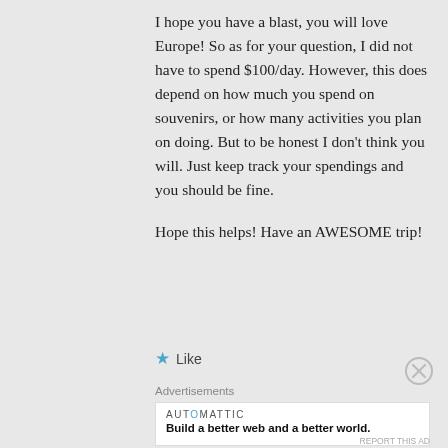I hope you have a blast, you will love Europe! So as for your question, I did not have to spend $100/day. However, this does depend on how much you spend on souvenirs, or how many activities you plan on doing. But to be honest I don't think you will. Just keep track your spendings and you should be fine.
Hope this helps! Have an AWESOME trip!
Like
Advertisements
[Figure (other): Automattic advertisement banner with logo and tagline: Build a better web and a better world.]